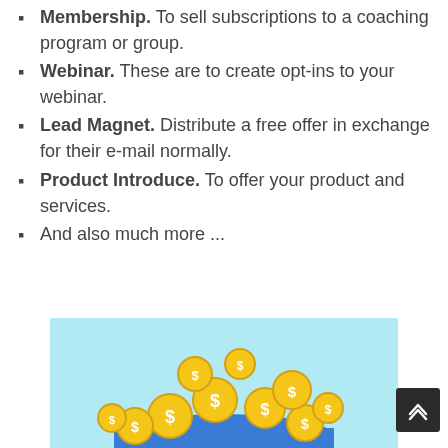Membership. To sell subscriptions to a coaching program or group.
Webinar. These are to create opt-ins to your webinar.
Lead Magnet. Distribute a free offer in exchange for their e-mail normally.
Product Introduce. To offer your product and services.
And also much more ...
[Figure (illustration): Illustration of gold dollar coins floating or pouring from a container on a light blue background.]